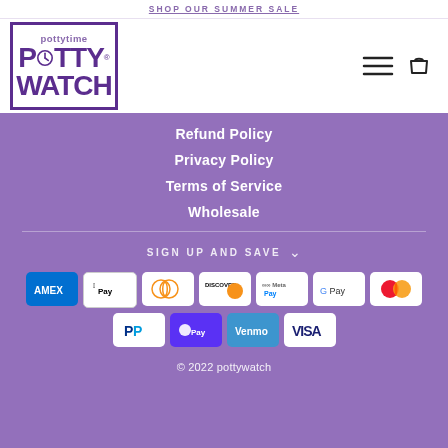SHOP OUR SUMMER SALE
[Figure (logo): Pottytime POTTY WATCH logo in purple box with registered trademark, clock icon in the letter O]
Refund Policy
Privacy Policy
Terms of Service
Wholesale
SIGN UP AND SAVE
[Figure (infographic): Payment method icons: American Express, Apple Pay, Diners Club, Discover, Meta Pay, Google Pay, Mastercard, PayPal, Shop Pay, Venmo, Visa]
© 2022 pottywatch